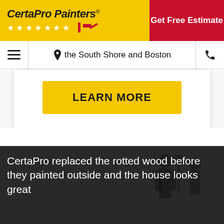CertaPro Painters® | Get Free Estimate
the South Shore and Boston
[Figure (screenshot): LEARN MORE button - yellow/gold rounded rectangle button with bold uppercase text]
[Figure (photo): Dark photo of painters working outside a house with white text overlay]
CertaPro replaced the rotted wood before they painted outside and the house looks great